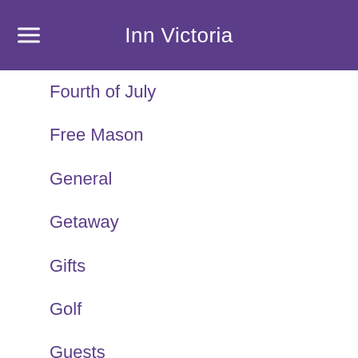Inn Victoria
Fourth of July
Free Mason
General
Getaway
Gifts
Golf
Guests
High Tea
hiking
Historical
History